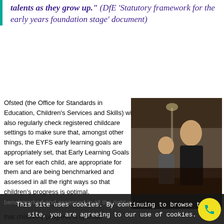talents as they grow up." (DfE 'Statutory framework for the early years foundation stage' document)
Ofsted (the Office for Standards in Education, Children's Services and Skills) will also regularly check registered childcare settings to make sure that, amongst other things, the EYFS early learning goals are appropriately set, that Early Learning Goals are set for each child, are appropriate for them and are being benchmarked and assessed in all the right ways so that children's progress is optimal.
[Figure (photo): A woman and a child looking at something together, appearing to be in a learning or care setting.]
This site uses cookies. By continuing to browse the site, you are agreeing to our use of cookies.
Accept settings
Hide notification only
Settings
that children's progress is optimal.